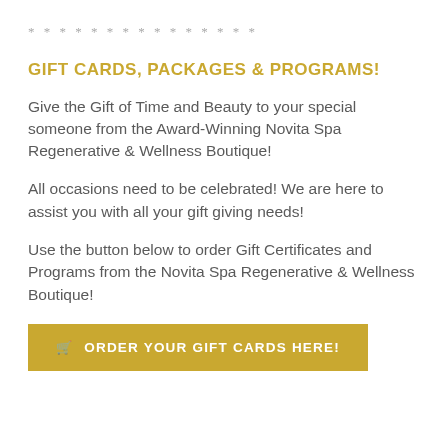* * * * * * * * * * * * * * *
GIFT CARDS, PACKAGES & PROGRAMS!
Give the Gift of Time and Beauty to your special someone from the Award-Winning Novita Spa Regenerative & Wellness Boutique!
All occasions need to be celebrated! We are here to assist you with all your gift giving needs!
Use the button below to order Gift Certificates and Programs from the Novita Spa Regenerative & Wellness Boutique!
🛒 ORDER YOUR GIFT CARDS HERE!